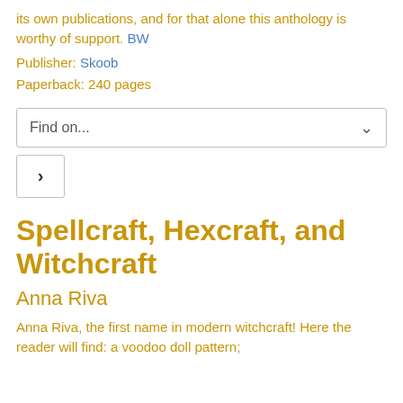its own publications, and for that alone this anthology is worthy of support. BW
Publisher: Skoob
Paperback: 240 pages
[Figure (screenshot): A dropdown UI element labeled 'Find on...' with a chevron arrow, followed by a right-arrow navigation button below it.]
Spellcraft, Hexcraft, and Witchcraft
Anna Riva
Anna Riva, the first name in modern witchcraft! Here the reader will find: a voodoo doll pattern;